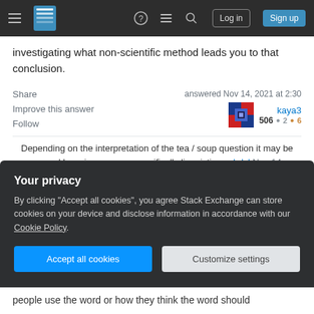Stack Exchange navigation bar with hamburger menu, logo, help, chat, search icons, Log in and Sign up buttons
investigating what non-scientific method leads you to that conclusion.
Share | Improve this answer | Follow
answered Nov 14, 2021 at 2:30
kaya3
506 ● 2 ● 6
Depending on the interpretation of the tea / soup question it may be answered by science, more specifically linguistics. – bdsl Nov 14, 2021 at 13:46
It's also possible to scientifically verify that Microsoft
Your privacy
By clicking "Accept all cookies", you agree Stack Exchange can store cookies on your device and disclose information in accordance with our Cookie Policy.
Accept all cookies
Customize settings
people use the word or how they think the word should